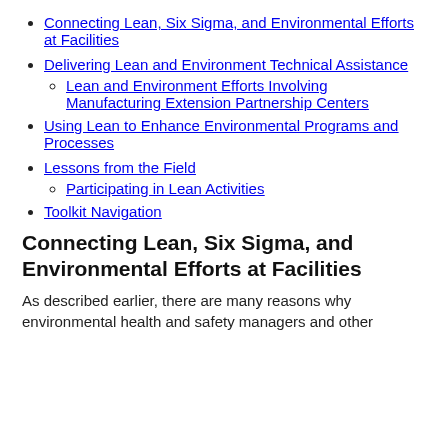Connecting Lean, Six Sigma, and Environmental Efforts at Facilities
Delivering Lean and Environment Technical Assistance
Lean and Environment Efforts Involving Manufacturing Extension Partnership Centers
Using Lean to Enhance Environmental Programs and Processes
Lessons from the Field
Participating in Lean Activities
Toolkit Navigation
Connecting Lean, Six Sigma, and Environmental Efforts at Facilities
As described earlier, there are many reasons why environmental health and safety managers and other